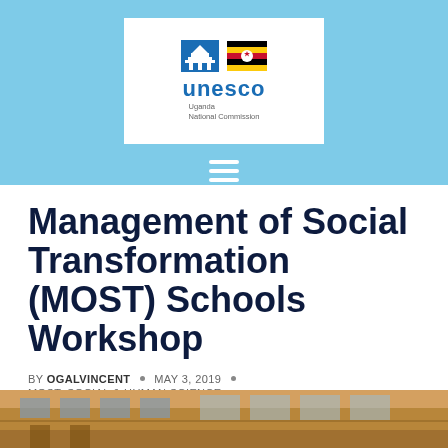[Figure (logo): UNESCO Uganda National Commission logo — UNESCO wordmark with building icon and Ugandan flag, displayed in a white box on a light blue banner with hamburger menu icon below]
Management of Social Transformation (MOST) Schools Workshop
BY OGALVINCENT · MAY 3, 2019 · MOST, SOCIAL & HUMAN SCIENCE
[Figure (photo): Partial photograph of a building exterior, showing the bottom strip of the image]